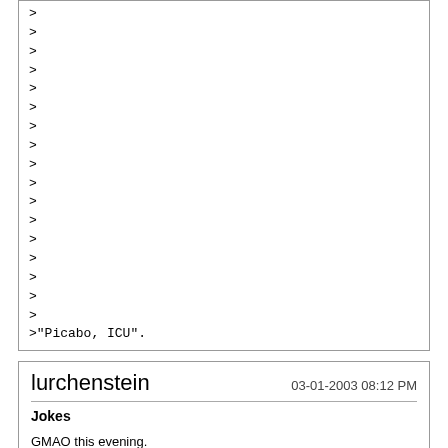>
>
>
>
>
>
>
>
>
>
>
>
>
>
>
>
>
>"Picabo, ICU".
lurchenstein   03-01-2003 08:12 PM
Jokes
GMAO this evening.
Semper Fi ( a drum roll),
-Chris
thedrifter   03-02-2003 06:59 AM